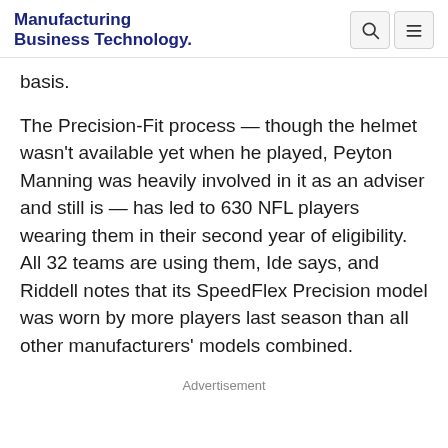Manufacturing Business Technology
basis.
The Precision-Fit process — though the helmet wasn't available yet when he played, Peyton Manning was heavily involved in it as an adviser and still is — has led to 630 NFL players wearing them in their second year of eligibility. All 32 teams are using them, Ide says, and Riddell notes that its SpeedFlex Precision model was worn by more players last season than all other manufacturers' models combined.
Advertisement